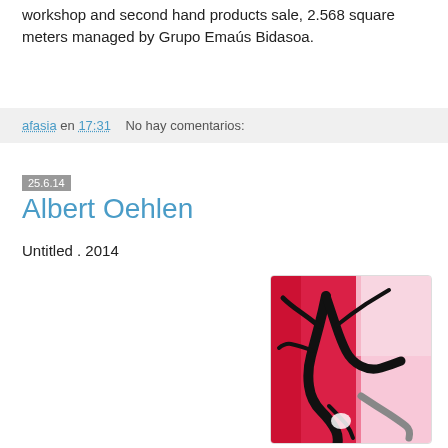workshop and second hand products sale, 2.568 square meters managed by Grupo Emaús Bidasoa.
afasia en 17:31    No hay comentarios:
25.6.14
Albert Oehlen
Untitled . 2014
[Figure (photo): Abstract painting by Albert Oehlen (Untitled, 2014). The painting features bold black abstract forms resembling cracked or branching lines against a vivid red and pink background. The right portion of the canvas is lighter/white. Black lines curve and intersect dramatically across the canvas.]